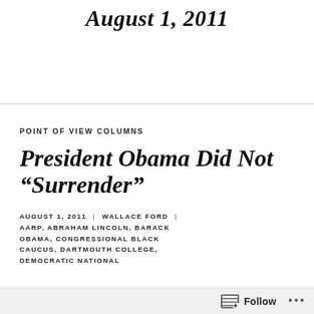August 1, 2011
POINT OF VIEW COLUMNS
President Obama Did Not “Surrender”
AUGUST 1, 2011 | WALLACE FORD | AARP, ABRAHAM LINCOLN, BARACK OBAMA, CONGRESSIONAL BLACK CAUCUS, DARTMOUTH COLLEGE, DEMOCRATIC NATIONAL
Follow